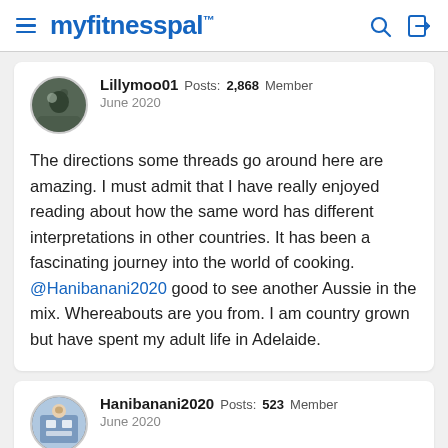myfitnesspal
Lillymoo01  Posts: 2,868  Member
June 2020

The directions some threads go around here are amazing. I must admit that I have really enjoyed reading about how the same word has different interpretations in other countries. It has been a fascinating journey into the world of cooking. @Hanibanani2020 good to see another Aussie in the mix. Whereabouts are you from. I am country grown but have spent my adult life in Adelaide.
Hanibanani2020  Posts: 523  Member
June 2020